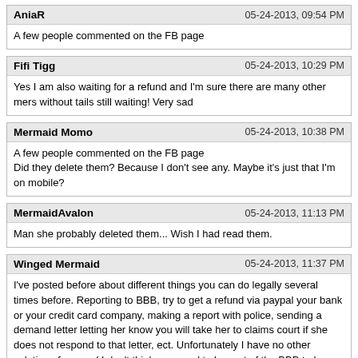AniaR | 05-24-2013, 09:54 PM
A few people commented on the FB page
Fifi Tigg | 05-24-2013, 10:29 PM
Yes I am also waiting for a refund and I'm sure there are many other mers without tails still waiting! Very sad
Mermaid Momo | 05-24-2013, 10:38 PM
A few people commented on the FB page
Did they delete them? Because I don't see any. Maybe it's just that I'm on mobile?
MermaidAvalon | 05-24-2013, 11:13 PM
Man she probably deleted them... Wish I had read them.
Winged Mermaid | 05-24-2013, 11:37 PM
I've posted before about different things you can do legally several times before. Reporting to BBB, try to get a refund via paypal your bank or your credit card company, making a report with police, sending a demand letter letting her know you will take her to claims court if she does not respond to that letter, ect. Unfortunately I have no other solutions for you :( I don't think you need to be part of the BBB to be reported, becuase I seem to remember Mermagica had an F rating with them.

I thought her posting meant that the would no longer offer any FURTHER refunds, not that she would deny refunds she already promised! I saw several people politely mention their refunds that were previously promised or asked